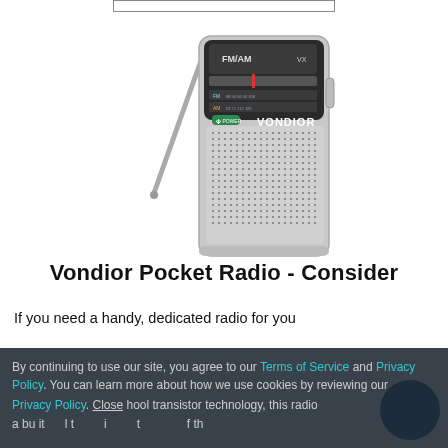[Figure (photo): A silver Vondior FM/AM pocket transistor radio with an extending antenna, black face panel showing FM and AM frequency bands, speaker grille with dot pattern, and POWER button.]
Vondior Pocket Radio - Consider
If you need a handy, dedicated radio for you
By continuing to use our site, you agree to our Terms of Service and Privacy Policy. You can learn more about how we use cookies by reviewing our Privacy Policy. Close hool transistor technology, this radio
a bu it        l t         i         t              f th